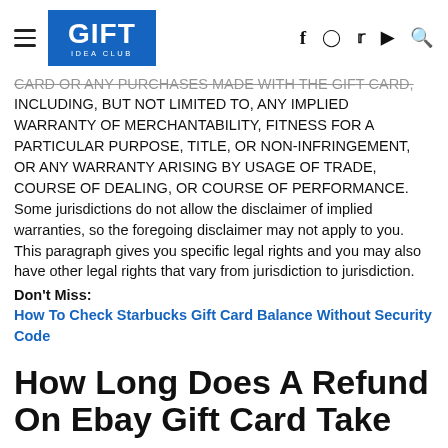GIFT IDEA CLUB
CARD OR ANY PURCHASES MADE WITH THE GIFT CARD, INCLUDING, BUT NOT LIMITED TO, ANY IMPLIED WARRANTY OF MERCHANTABILITY, FITNESS FOR A PARTICULAR PURPOSE, TITLE, OR NON-INFRINGEMENT, OR ANY WARRANTY ARISING BY USAGE OF TRADE, COURSE OF DEALING, OR COURSE OF PERFORMANCE. Some jurisdictions do not allow the disclaimer of implied warranties, so the foregoing disclaimer may not apply to you. This paragraph gives you specific legal rights and you may also have other legal rights that vary from jurisdiction to jurisdiction.
Don't Miss:
How To Check Starbucks Gift Card Balance Without Security Code
How Long Does A Refund On Ebay Gift Card Take